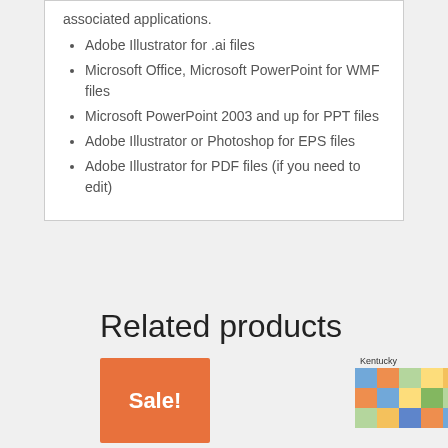associated applications.
Adobe Illustrator for .ai files
Microsoft Office, Microsoft PowerPoint for WMF files
Microsoft PowerPoint 2003 and up for PPT files
Adobe Illustrator or Photoshop for EPS files
Adobe Illustrator for PDF files (if you need to edit)
Related products
[Figure (other): Orange sale badge with white 'Sale!' text]
[Figure (map): Kentucky counties map with colorful regions]